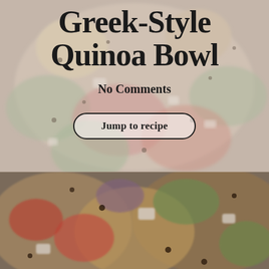[Figure (photo): Background food photo of Greek-style quinoa bowl with vegetables — feta, tomatoes, cucumbers, red onion, quinoa — blurred/muted as background image]
Greek-Style Quinoa Bowl
No Comments
Jump to recipe
[Figure (photo): Close-up photo of Greek-style quinoa bowl with colorful vegetables at bottom of page]